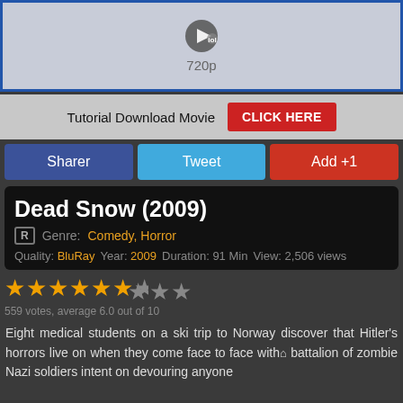[Figure (screenshot): Video player area showing 720p quality indicator with a circular play button icon and light blue-grey background]
Tutorial Download Movie CLICK HERE
Sharer  Tweet  Add +1
Dead Snow (2009)
R  Genre: Comedy, Horror
Quality: BluRay  Year: 2009  Duration: 91 Min  View: 2,506 views
[Figure (other): Star rating showing 6 out of 10 stars (6 filled, 4 empty)]
559 votes, average 6.0 out of 10
Eight medical students on a ski trip to Norway discover that Hitler's horrors live on when they come face to face with a battalion of zombie Nazi soldiers intent on devouring anyone